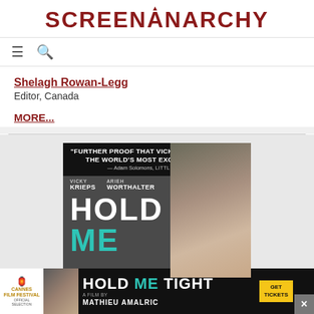SCREENANARCHY
≡  🔍
Shelagh Rowan-Legg
Editor, Canada
MORE...
[Figure (photo): Movie poster for 'Hold Me Tight' featuring Vicky Krieps and Arieh Worthhalter, directed by Mathieu Amalric. Quote: 'Further proof that Vicky Krieps is one of the world's most exciting actors.' – Adam Solomons, Little White Lies]
[Figure (photo): Advertisement banner for 'Hold Me Tight' (Hold Me Tight film by Mathieu Amalric), Cannes Film Festival Official Selection, with Get Tickets button]